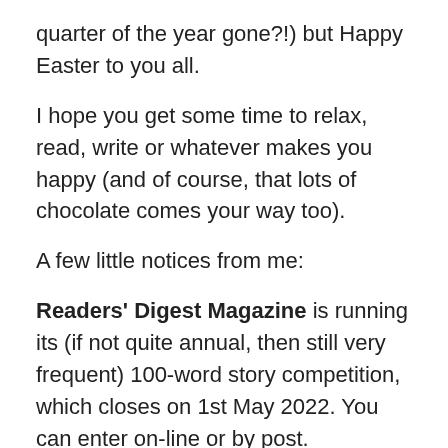quarter of the year gone?!) but Happy Easter to you all.
I hope you get some time to relax, read, write or whatever makes you happy (and of course, that lots of chocolate comes your way too).
A few little notices from me:
Readers' Digest Magazine is running its (if not quite annual, then still very frequent) 100-word story competition, which closes on 1st May 2022. You can enter on-line or by post.
All the details are here but in short (ha, no pun intended), it's free to enter, you can enter as many times as you like, there are 2 children's categories too and the winner in the adult category will receive a rather lovely £1000, plus a reading light/lamp worth £400.